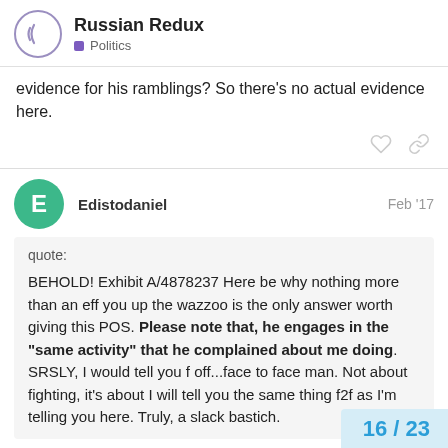Russian Redux — Politics
evidence for his ramblings? So there's no actual evidence here.
Edistodaniel  Feb '17
quote:

BEHOLD! Exhibit A/4878237 Here be why nothing more than an eff you up the wazzoo is the only answer worth giving this POS. Please note that, he engages in the "same activity" that he complained about me doing. SRSLY, I would tell you f off...face to face man. Not about fighting, it's about I will tell you the same thing f2f as I'm telling you here. Truly, a slack bastich.
16 / 23